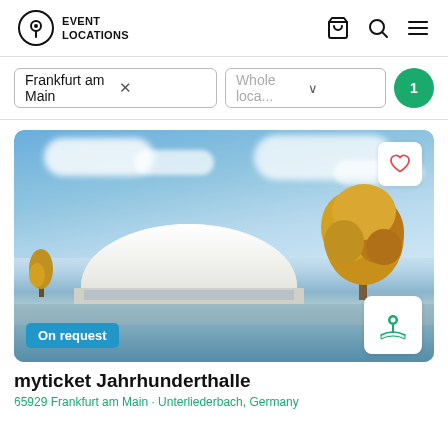EVENT LOCATIONS
Frankfurt am Main × Whole loca... ∨ 1
[Figure (photo): Photo of myticket Jahrhunderthalle in Frankfurt — a large dome-shaped building with a blue sky background, autumn trees, and water reflection in the foreground. Badge: 'On request'. Heart and map icon buttons overlay the photo.]
myticket Jahrhunderthalle
65929 Frankfurt am Main · Unterliederbach, Germany